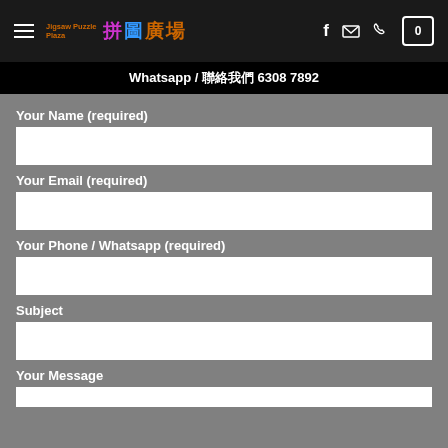Jigsaw Puzzle Plaza 拼圖廣場 — navigation bar with hamburger menu, logo, and icons (f, email, phone, cart 0)
Whatsapp / 聯絡我們 6308 7892
Your Name (required)
Your Email (required)
Your Phone / Whatsapp (required)
Subject
Your Message